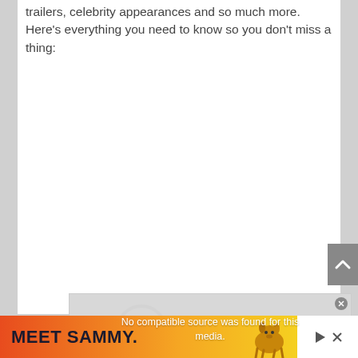trailers, celebrity appearances and so much more. Here's everything you need to know so you don't miss a thing:
[Figure (screenshot): Video player placeholder showing 'No compatible source was found for this media.' with a circular play icon overlay and close button.]
[Figure (photo): Advertisement banner showing 'MEET SAMMY.' text on orange/red gradient background with a golden retriever dog image and play/close controls.]